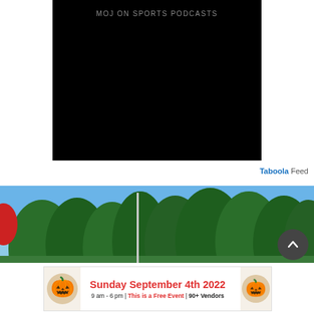[Figure (screenshot): Black video player box with text 'MOJ ON SPORTS PODCASTS' at the top in gray letters]
Taboola Feed
[Figure (photo): Outdoor photo showing tall evergreen trees against a blue sky, with a flagpole visible and red object at left edge]
[Figure (screenshot): Advertisement banner: 'Sunday September 4th 2022 / 9 am - 6 pm | This is a Free Event | 90+ Vendors' with decorative elements on sides]